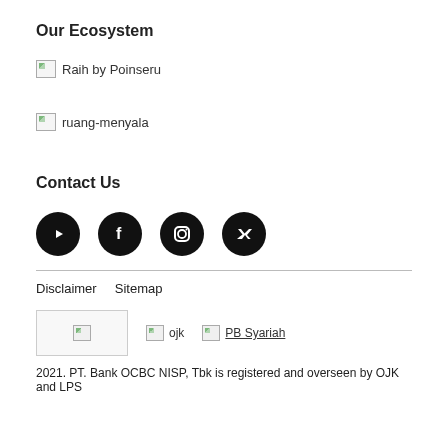Our Ecosystem
[Figure (illustration): Broken image placeholder with text 'Raih by Poinseru']
[Figure (illustration): Broken image placeholder with text 'ruang-menyala']
Contact Us
[Figure (illustration): Social media icons: YouTube, Facebook, Instagram, Twitter (black circles)]
Disclaimer   Sitemap
[Figure (illustration): Footer logos: bank logo (broken image), OJK logo (broken image), PB Syariah logo (broken image)]
2021. PT. Bank OCBC NISP, Tbk is registered and overseen by OJK and LPS